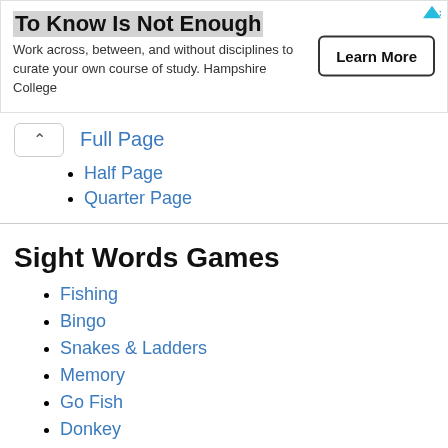[Figure (screenshot): Advertisement banner for Hampshire College with title 'To Know Is Not Enough', body text, and a 'Learn More' button.]
Full Page
Half Page
Quarter Page
Sight Words Games
Fishing
Bingo
Snakes & Ladders
Memory
Go Fish
Donkey
Fly Swat
Parking Lot